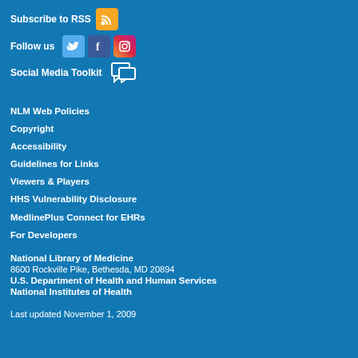Subscribe to RSS
Follow us
Social Media Toolkit
NLM Web Policies
Copyright
Accessibility
Guidelines for Links
Viewers & Players
HHS Vulnerability Disclosure
MedlinePlus Connect for EHRs
For Developers
National Library of Medicine
8600 Rockville Pike, Bethesda, MD 20894
U.S. Department of Health and Human Services
National Institutes of Health
Last updated November 1, 2009